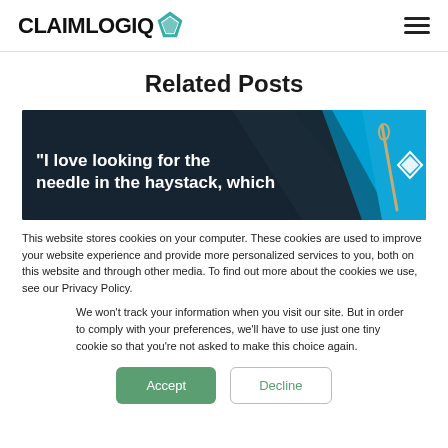CLAIMLOGIQ
Related Posts
[Figure (screenshot): Banner image with dark background and blue area showing partial text: "I love looking for the needle in the haystack, which" with a needle image and ClaimLogIQ logo on the right]
This website stores cookies on your computer. These cookies are used to improve your website experience and provide more personalized services to you, both on this website and through other media. To find out more about the cookies we use, see our Privacy Policy.
We won't track your information when you visit our site. But in order to comply with your preferences, we'll have to use just one tiny cookie so that you're not asked to make this choice again.